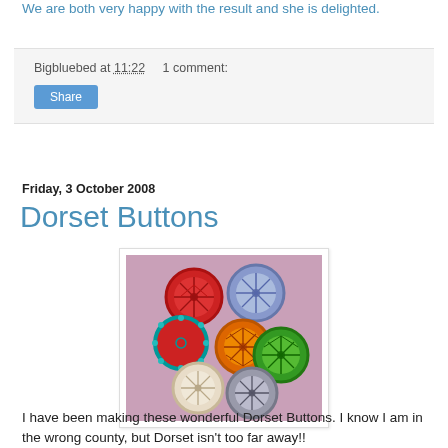We are both very happy with the result and she is delighted.
Bigbluebed at 11:22    1 comment:
Share
Friday, 3 October 2008
Dorset Buttons
[Figure (photo): Six colorful Dorset buttons on a pink background: red, blue/lavender, red with teal border, orange, green, cream/white, and grey/silver.]
I have been making these wonderful Dorset Buttons. I know I am in the wrong county, but Dorset isn't too far away!!